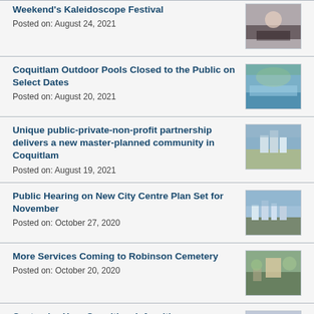Weekend's Kaleidoscope Festival
Posted on: August 24, 2021
[Figure (photo): Photo related to Kaleidoscope Festival]
Coquitlam Outdoor Pools Closed to the Public on Select Dates
Posted on: August 20, 2021
[Figure (photo): Photo of outdoor pool]
Unique public-private-non-profit partnership delivers a new master-planned community in Coquitlam
Posted on: August 19, 2021
[Figure (photo): Photo of new master-planned community buildings]
Public Hearing on New City Centre Plan Set for November
Posted on: October 27, 2020
[Figure (photo): Photo of city centre aerial view]
More Services Coming to Robinson Cemetery
Posted on: October 20, 2020
[Figure (photo): Photo of Robinson Cemetery entrance]
Customize Your Coquitlam Info with